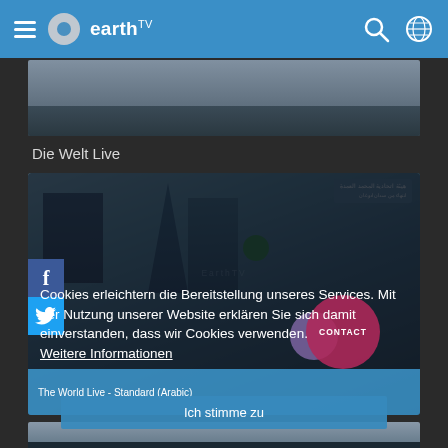earthTV
Die Welt Live
[Figure (screenshot): Screenshot of earthTV website showing a city skyline live feed with an Arabic sign/billboard overlay and cookie consent overlay in German. Includes Facebook and Twitter social buttons on the left side, a pink CONTACT circle, and a blue bar at the bottom labeled 'The World Live - Standard (Arabic)'.]
Cookies erleichtern die Bereitstellung unseres Services. Mit der Nutzung unserer Website erklären Sie sich damit einverstanden, dass wir Cookies verwenden. Weitere Informationen
Ich stimme zu